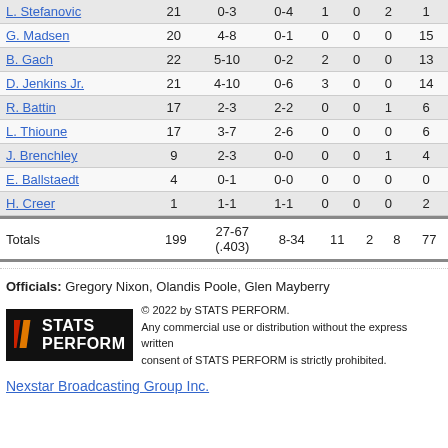| Player | MIN | FG | 3PT | REB | AST | BLK | PTS |
| --- | --- | --- | --- | --- | --- | --- | --- |
| L. Stefanovic | 21 | 0-3 | 0-4 | 1 | 0 | 2 | 1 |
| G. Madsen | 20 | 4-8 | 0-1 | 0 | 0 | 0 | 15 |
| B. Gach | 22 | 5-10 | 0-2 | 2 | 0 | 0 | 13 |
| D. Jenkins Jr. | 21 | 4-10 | 0-6 | 3 | 0 | 0 | 14 |
| R. Battin | 17 | 2-3 | 2-2 | 0 | 0 | 1 | 6 |
| L. Thioune | 17 | 3-7 | 2-6 | 0 | 0 | 0 | 6 |
| J. Brenchley | 9 | 2-3 | 0-0 | 0 | 0 | 1 | 4 |
| E. Ballstaedt | 4 | 0-1 | 0-0 | 0 | 0 | 0 | 0 |
| H. Creer | 1 | 1-1 | 1-1 | 0 | 0 | 0 | 2 |
| Totals | 199 | 27-67 (.403) | 8-34 | 11 | 2 | 8 | 77 |
Officials: Gregory Nixon, Olandis Poole, Glen Mayberry
[Figure (logo): STATS PERFORM logo with copyright notice]
Nexstar Broadcasting Group Inc.